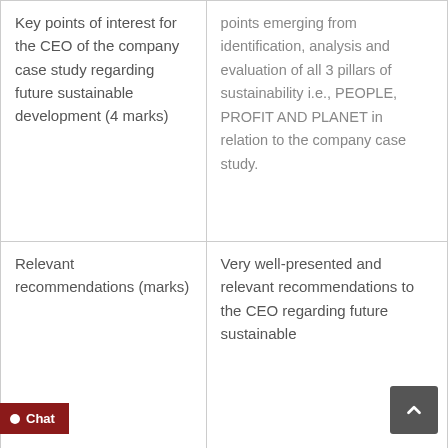| Key points of interest for the CEO of the company case study regarding future sustainable development (4 marks) | points emerging from identification, analysis and evaluation of all 3 pillars of sustainability i.e., PEOPLE, PROFIT AND PLANET in relation to the company case study. |
| Relevant recommendations (marks) | Very well-presented and relevant recommendations to the CEO regarding future sustainable |